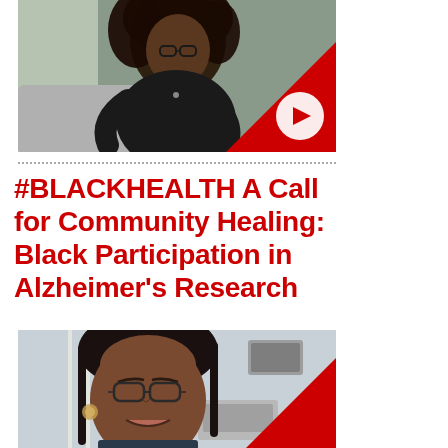[Figure (photo): Video thumbnail showing a Black woman with curly hair and glasses wearing a black outfit, sitting on a grey couch near a window. A red triangle with a white YouTube play button is overlaid in the bottom-right corner.]
#BLACKHEALTH A Call for Community Healing: Black Participation in Alzheimer's Research
[Figure (photo): Video thumbnail showing a Black woman with straight dark hair and glasses smiling, sitting in an office environment with vertical blinds in the background. A red triangle is overlaid in the bottom-right corner.]